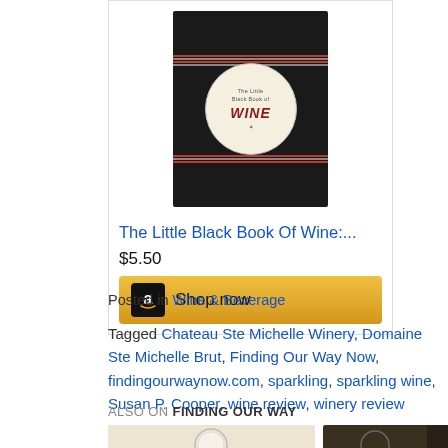[Figure (photo): Product card showing 'The Little Black Book Of Wine' book with black cover, circular label, with price $5.50 and Amazon Shop now button]
Posted in Wine & Beverage
Tagged Chateau Ste Michelle Winery, Domaine Ste Michelle Brut, Finding Our Way Now, findingourwaynow.com, sparkling, sparkling wine, Susan P. Cooper, wine review, winery review
ALSO ON FINDING OUR WAY
[Figure (photo): Two thumbnail images at bottom: left shows a glass jar, right shows a close-up of wine bottle or similar dark object]